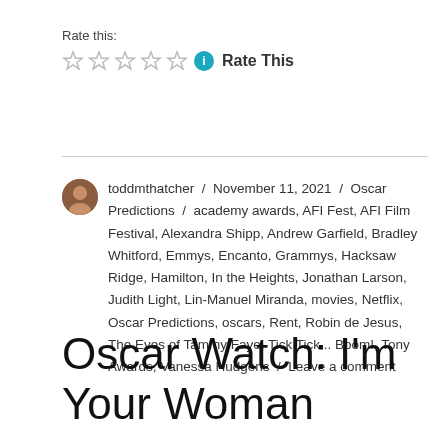Rate this:
[Figure (other): Five empty star rating icons followed by a teal info icon and 'Rate This' text]
toddmthatcher / November 11, 2021 / Oscar Predictions / academy awards, AFI Fest, AFI Film Festival, Alexandra Shipp, Andrew Garfield, Bradley Whitford, Emmys, Encanto, Grammys, Hacksaw Ridge, Hamilton, In the Heights, Jonathan Larson, Judith Light, Lin-Manuel Miranda, movies, Netflix, Oscar Predictions, oscars, Rent, Robin de Jesus, The Eyes of Tammy Faye, Tick Tick... Boom!, Tony Awards, Vanessa Hudgens / Leave a comment
Oscar Watch: I'm Your Woman